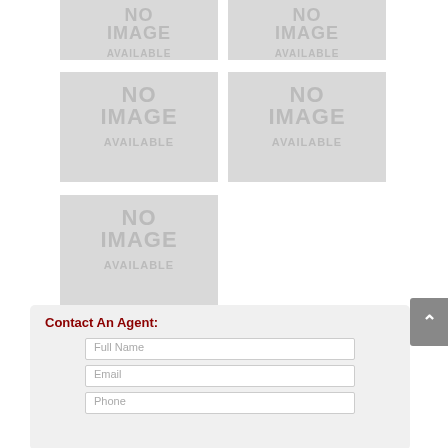[Figure (other): No image available placeholder - top left, small]
[Figure (other): No image available placeholder - top right, small]
[Figure (other): No image available placeholder - middle left, large]
[Figure (other): No image available placeholder - middle right, large]
[Figure (other): No image available placeholder - bottom left, large]
Contact An Agent:
Full Name
Email
Phone